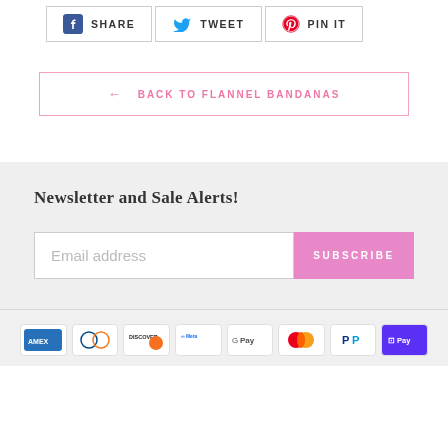SHARE  TWEET  PIN IT
← BACK TO FLANNEL BANDANAS
Newsletter and Sale Alerts!
Email address  SUBSCRIBE
[Figure (other): Payment method icons: American Express, Diners Club, Discover, Meta Pay, Google Pay, Mastercard, PayPal, Shop Pay]